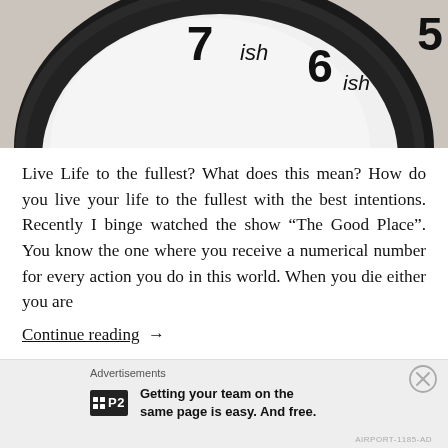[Figure (photo): Close-up photo of a clock face with a black round frame. The visible numbers on the clock face are '7ish', '6ish', and '5ish' written in a handwritten-style font on a white/light background.]
Live Life to the fullest? What does this mean? How do you live your life to the fullest with the best intentions. Recently I binge watched the show “The Good Place”. You know the one where you receive a numerical number for every action you do in this world. When you die either you are
Continue reading →
Advertisements
Getting your team on the same page is easy. And free.